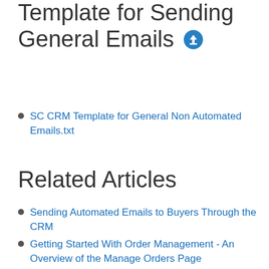Template for Sending General Emails
SC CRM Template for General Non Automated Emails.txt
Related Articles
Sending Automated Emails to Buyers Through the CRM
Getting Started With Order Management - An Overview of the Manage Orders Page